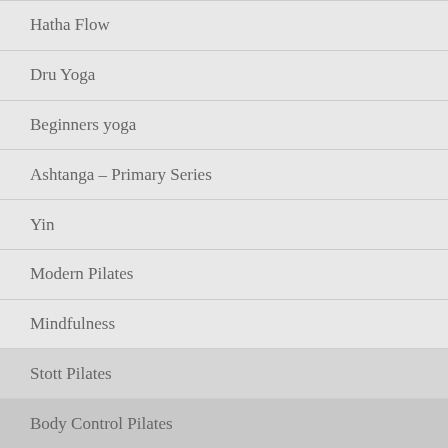Hatha Flow
Dru Yoga
Beginners yoga
Ashtanga – Primary Series
Yin
Modern Pilates
Mindfulness
Stott Pilates
Body Control Pilates